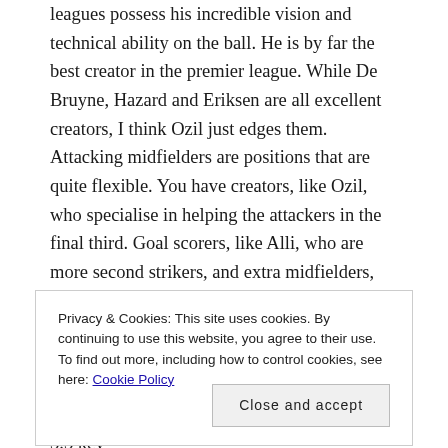leagues possess his incredible vision and technical ability on the ball. He is by far the best creator in the premier league. While De Bruyne, Hazard and Eriksen are all excellent creators, I think Ozil just edges them. Attacking midfielders are positions that are quite flexible. You have creators, like Ozil, who specialise in helping the attackers in the final third. Goal scorers, like Alli, who are more second strikers, and extra midfielders, like Banega, who are great at dropping into midfield to provide extra numbers. Ozil is the best creator. His creative numbers have been excellent throughout his career. His best season was the 2015/16
Privacy & Cookies: This site uses cookies. By continuing to use this website, you agree to their use.
To find out more, including how to control cookies, see here: Cookie Policy
[Close and accept]
he doesn't work hard enough, but he still made 3.3 key